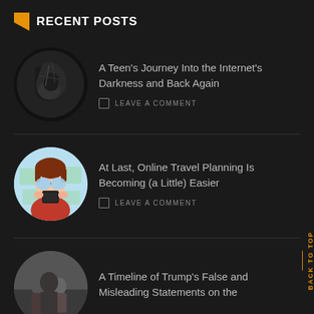RECENT POSTS
A Teen's Journey Into the Internet's Darkness and Back Again
LEAVE A COMMENT
At Last, Online Travel Planning Is Becoming (a Little) Easier
LEAVE A COMMENT
A Timeline of Trump's False and Misleading Statements on the